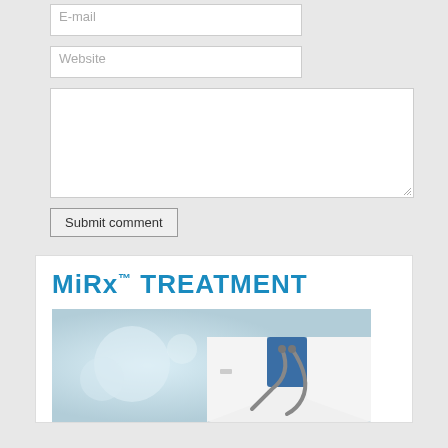[Figure (screenshot): Web form input field labeled 'E-mail' (partially visible at top)]
[Figure (screenshot): Web form input field labeled 'Website']
[Figure (screenshot): Web form textarea (empty comment box)]
[Figure (screenshot): Submit comment button]
MiRx™ TREATMENT
[Figure (photo): Photo of a doctor in white coat with stethoscope against light blue background]